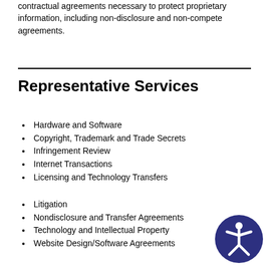contractual agreements necessary to protect proprietary information, including non-disclosure and non-compete agreements.
Representative Services
Hardware and Software
Copyright, Trademark and Trade Secrets
Infringement Review
Internet Transactions
Licensing and Technology Transfers
Litigation
Nondisclosure and Transfer Agreements
Technology and Intellectual Property
Website Design/Software Agreements
[Figure (illustration): Accessibility icon: white stick figure person with arms and legs spread on a dark navy/indigo circular background]